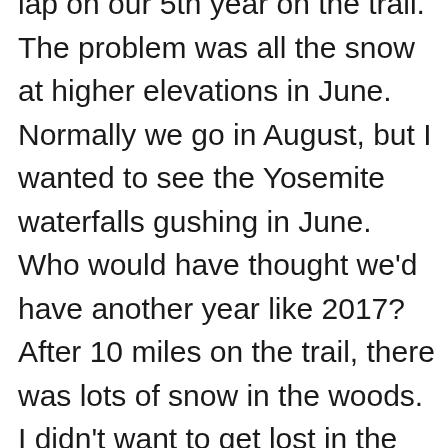lap on our 5th year on the trail. The problem was all the snow at higher elevations in June. Normally we go in August, but I wanted to see the Yosemite waterfalls gushing in June. Who would have thought we'd have another year like 2017? After 10 miles on the trail, there was lots of snow in the woods. I didn't want to get lost in the woods, so we decided on an alternate trip, down to Merced Lake, and then follow the river all the way back. It turned out to be a wonderful trip with all the waterfalls going off. The trail will be there next year, and we'll only have 15 more